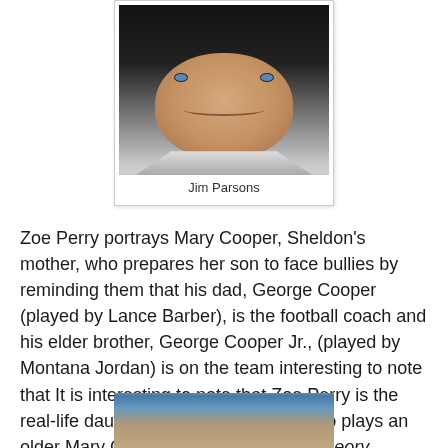[Figure (photo): Photo of Jim Parsons, a man with short dark hair and blue eyes, smiling, wearing a white collar shirt, against a dark background]
Jim Parsons
Zoe Perry portrays Mary Cooper, Sheldon's mother, who prepares her son to face bullies by reminding them that his dad, George Cooper (played by Lance Barber), is the football coach and his elder brother, George Cooper Jr., (played by Montana Jordan) is on the team interesting to note that It is interesting to note that Zoe Perry is the real-life daughter of Laurie Metcalf, who plays an older Mary Cooper on The Big Bang Theory.
[Figure (photo): Partial photo at bottom of page, showing top of another person's head]